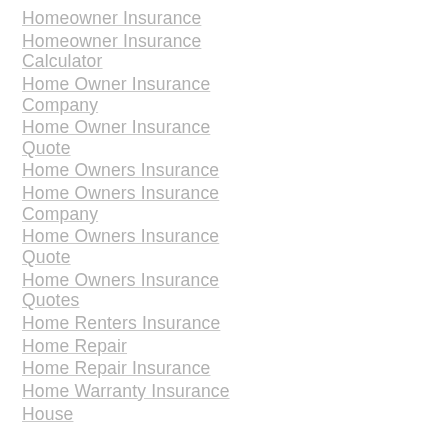Homeowner Insurance
Homeowner Insurance Calculator
Home Owner Insurance Company
Home Owner Insurance Quote
Home Owners Insurance
Home Owners Insurance Company
Home Owners Insurance Quote
Home Owners Insurance Quotes
Home Renters Insurance
Home Repair
Home Repair Insurance
Home Warranty Insurance
House